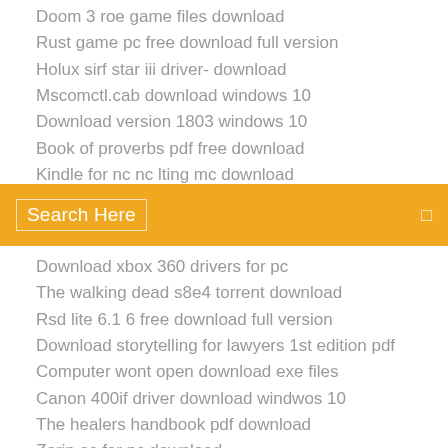Doom 3 roe game files download
Rust game pc free download full version
Holux sirf star iii driver- download
Mscomctl.cab download windows 10
Download version 1803 windows 10
Book of proverbs pdf free download
Kindle for pc nc lting mc download
[Figure (screenshot): Orange search bar with text 'Search Here' and a small icon on the right]
Download xbox 360 drivers for pc
The walking dead s8e4 torrent download
Rsd lite 6.1 6 free download full version
Download storytelling for lawyers 1st edition pdf
Computer wont open download exe files
Canon 400if driver download windwos 10
The healers handbook pdf download
Zorin os for pc download
Toshiba pa3171u-1mpc wireless mini-pci card driver download